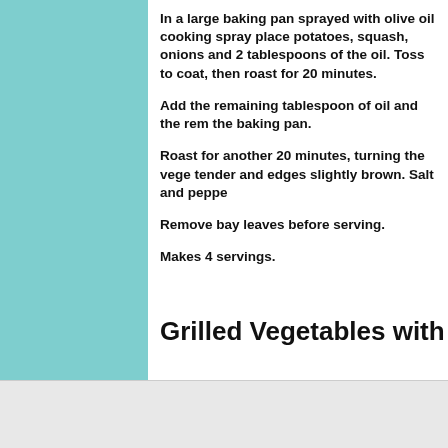In a large baking pan sprayed with olive oil cooking spray place potatoes, squash, onions and 2 tablespoons of the oil. Toss to coat, then roast for 20 minutes.
Add the remaining tablespoon of oil and the rem the baking pan.
Roast for another 20 minutes, turning the vege tender and edges slightly brown. Salt and peppe
Remove bay leaves before serving.
Makes 4 servings.
Grilled Vegetables with Bas
Advertisements